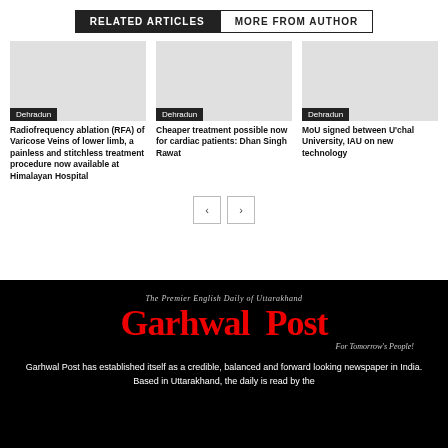RELATED ARTICLES | MORE FROM AUTHOR
Radiofrequency ablation (RFA) of Varicose Veins of lower limb, a painless and stitchless treatment procedure now available at Himalayan Hospital
Cheaper treatment possible now for cardiac patients: Dhan Singh Rawat
MoU signed between U'chal University, IAU on new technology
[Figure (logo): Garhwal Post newspaper logo with tagline: The Premier English Daily of Uttarakhand, For Tomorrow's People!]
Garhwal Post has established itself as a credible, balanced and forward looking newspaper in India. Based in Uttarakhand, the daily is read by the